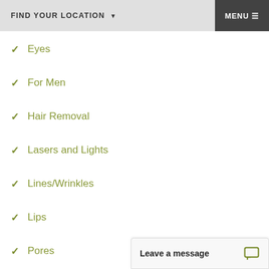FIND YOUR LOCATION   ▼   MENU ≡
Eyes
For Men
Hair Removal
Lasers and Lights
Lines/Wrinkles
Lips
Pores
Redness/Rosacea
Leave a message